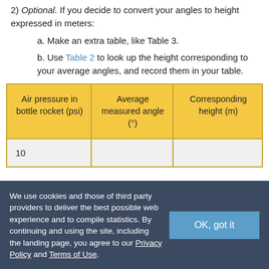2) Optional. If you decide to convert your angles to height expressed in meters:
a. Make an extra table, like Table 3.
b. Use Table 2 to look up the height corresponding to your average angles, and record them in your table.
| Air pressure in bottle rocket (psi) | Average measured angle (°) | Corresponding height (m) |
| --- | --- | --- |
| 10 |  |  |
We use cookies and those of third party providers to deliver the best possible web experience and to compile statistics. By continuing and using the site, including the landing page, you agree to our Privacy Policy and Terms of Use.